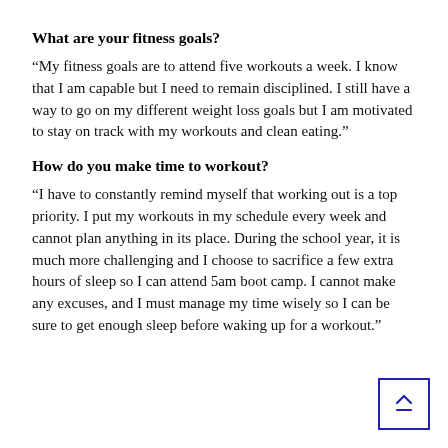What are your fitness goals?
“My fitness goals are to attend five workouts a week. I know that I am capable but I need to remain disciplined. I still have a way to go on my different weight loss goals but I am motivated to stay on track with my workouts and clean eating.”
How do you make time to workout?
“I have to constantly remind myself that working out is a top priority. I put my workouts in my schedule every week and cannot plan anything in its place. During the school year, it is much more challenging and I choose to sacrifice a few extra hours of sleep so I can attend 5am boot camp. I cannot make any excuses, and I must manage my time wisely so I can be sure to get enough sleep before waking up for a workout.”